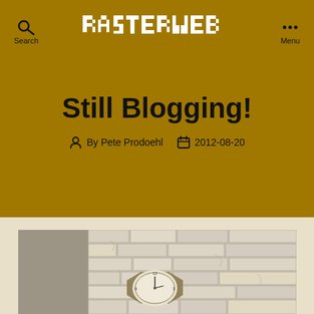RASTERWEB — Search | Menu
Still Blogging!
By Pete Prodoehl   2012-08-20
[Figure (photo): A clock hanging on a white brick wall, sepia/grayscale toned photograph, partially visible hexagonal clock face near the bottom, with textured painted brick background.]